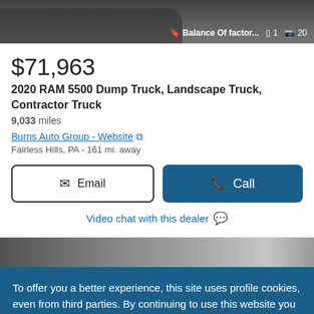[Figure (photo): Partial view of a truck (dark colored) with photo count overlay showing bookmark icon, '1' image saved, and 20 total photos. Text reads: Balance Of factor...]
$71,963
2020 RAM 5500 Dump Truck, Landscape Truck, Contractor Truck
9,033 miles
Burns Auto Group - Website
Fairless Hills, PA - 161 mi. away
Email
Call
Video chat with this dealer
[Figure (photo): Partial second vehicle photo strip at the bottom of the listing card area]
To offer you a better experience, this site uses profile cookies, even from third parties. By continuing to use this website you consent to the use of cookies. For more information or to select your preferences consult our Privacy Policy
Cookie Settings
✓ OK